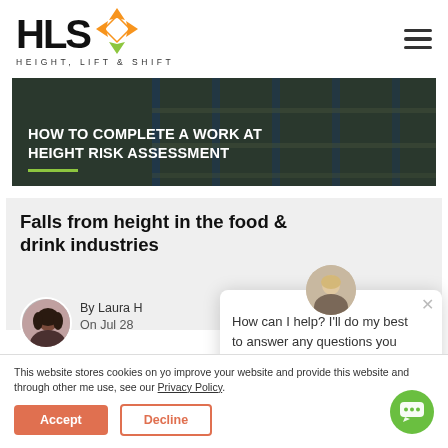[Figure (logo): HLS Height, Lift & Shift logo with diamond/arrow icon in orange and green]
[Figure (screenshot): Hamburger menu icon (three horizontal lines)]
[Figure (photo): Hero banner: HOW TO COMPLETE A WORK AT HEIGHT RISK ASSESSMENT on dark background with warehouse shelving]
Falls from height in the food & drink industries
By Laura H
On Jul 28
[Figure (photo): Author avatar: woman with dark hair]
[Figure (photo): Chat assistant avatar: older blonde woman]
How can I help? I'll do my best to answer any questions you might have.
This website stores cookies on yo improve your website and provide this website and through other me use, see our Privacy Policy.
Accept
Decline